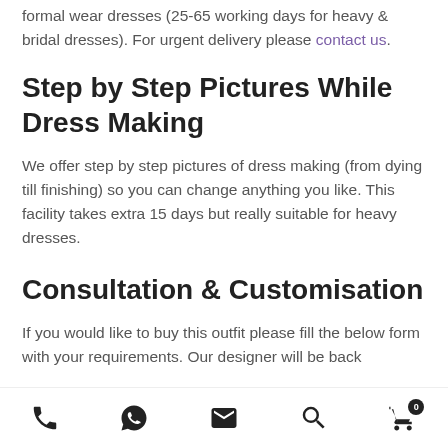formal wear dresses (25-65 working days for heavy & bridal dresses). For urgent delivery please contact us.
Step by Step Pictures While Dress Making
We offer step by step pictures of dress making (from dying till finishing) so you can change anything you like. This facility takes extra 15 days but really suitable for heavy dresses.
Consultation & Customisation
If you would like to buy this outfit please fill the below form with your requirements. Our designer will be back
Phone | WhatsApp | Email | Search | Cart (0)